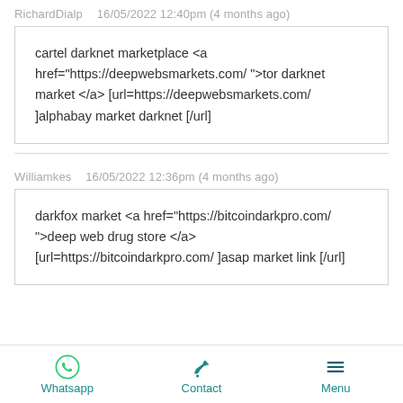RichardDialp   16/05/2022 12:40pm (4 months ago)
cartel darknet marketplace <a href="https://deepwebsmarkets.com/ ">tor darknet market </a> [url=https://deepwebsmarkets.com/ ]alphabay market darknet [/url]
Williamkes   16/05/2022 12:36pm (4 months ago)
darkfox market <a href="https://bitcoindarkpro.com/ ">deep web drug store </a> [url=https://bitcoindarkpro.com/ ]asap market link [/url]
Whatsapp   Contact   Menu